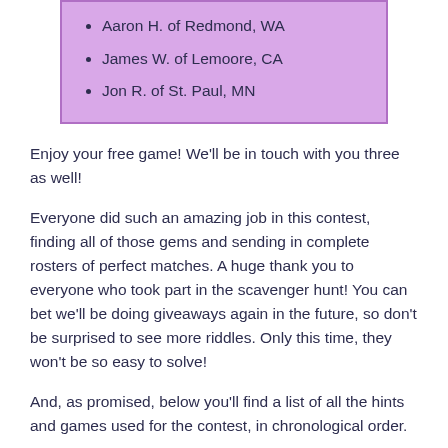Aaron H. of Redmond, WA
James W. of Lemoore, CA
Jon R. of St. Paul, MN
Enjoy your free game! We'll be in touch with you three as well!
Everyone did such an amazing job in this contest, finding all of those gems and sending in complete rosters of perfect matches. A huge thank you to everyone who took part in the scavenger hunt! You can bet we'll be doing giveaways again in the future, so don't be surprised to see more riddles. Only this time, they won't be so easy to solve!
And, as promised, below you'll find a list of all the hints and games used for the contest, in chronological order.